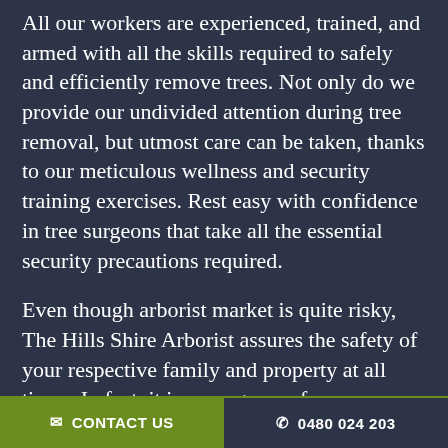All our workers are experienced, trained, and armed with all the skills required to safely and efficiently remove trees. Not only do we provide our undivided attention during tree removal, but utmost care can be taken, thanks to our meticulous wellness and security training exercises. Rest easy with confidence in tree surgeons that take all the essential security precautions required.
Even though arborist market is quite risky, The Hills Shire Arborist assures the safety of your respective family and property at all times. In fact, it is among one of our priorities when performing any tree removal job in your property.
Briefly, should you worry about safety, our
✉ CONTACT US   ✆ 0480 024 203